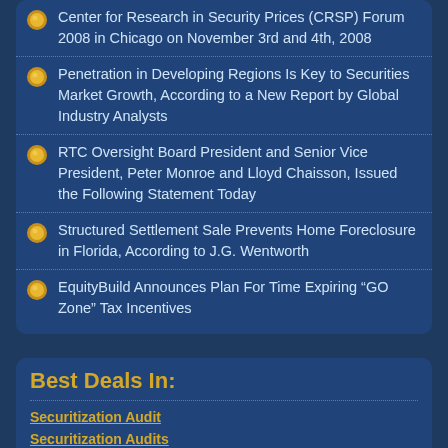Center for Research in Security Prices (CRSP) Forum 2008 in Chicago on November 3rd and 4th, 2008
Penetration in Developing Regions Is Key to Securities Market Growth, According to a New Report by Global Industry Analysts
RTC Oversight Board President and Senior Vice President, Peter Monroe and Lloyd Chaisson, Issued the Following Statement Today
Structured Settlement Sale Prevents Home Foreclosure in Florida, According to J.G. Wentworth
EquityBuild Announces Plan For Time Expiring “GO Zone” Tax Incentives
Best Deals In:
Securitization Audit
Securitization Audits
Robo Affidavits